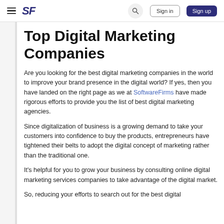SF | Sign in | Sign up
Top Digital Marketing Companies
Are you looking for the best digital marketing companies in the world to improve your brand presence in the digital world? If yes, then you have landed on the right page as we at SoftwareFirms have made rigorous efforts to provide you the list of best digital marketing agencies.
Since digitalization of business is a growing demand to take your customers into confidence to buy the products, entrepreneurs have tightened their belts to adopt the digital concept of marketing rather than the traditional one.
It's helpful for you to grow your business by consulting online digital marketing services companies to take advantage of the digital market.
So, reducing your efforts to search out for the best digital